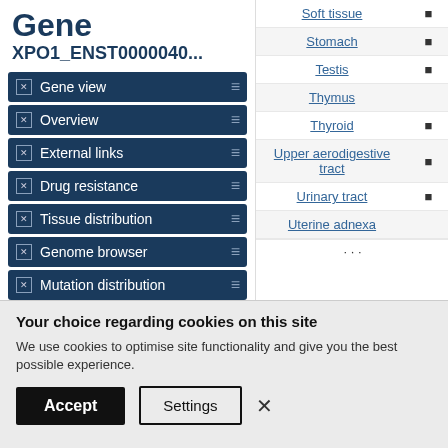Gene XPO1_ENST0000040...
Gene view
Overview
External links
Drug resistance
Tissue distribution
Genome browser
Mutation distribution
| Tissue | Indicator |
| --- | --- |
| Soft tissue | ■ |
| Stomach | ■ |
| Testis | ■ |
| Thymus |  |
| Thyroid | ■ |
| Upper aerodigestive tract | ■ |
| Urinary tract | ■ |
| Uterine adnexa |  |
Your choice regarding cookies on this site
We use cookies to optimise site functionality and give you the best possible experience.